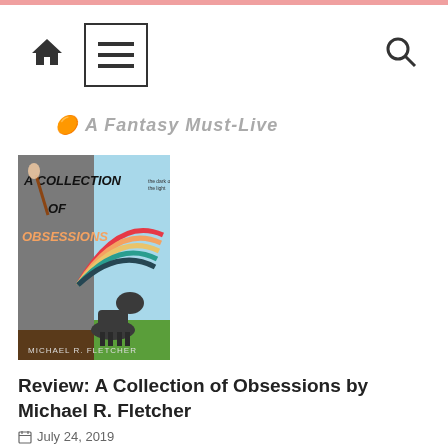Home menu search navigation bar
A Fantasy Must-Live
[Figure (illustration): Book cover of 'A Collection of Obsessions' by Michael R. Fletcher, showing illustrated text on a grey-blue background with a unicorn, rainbow, and artistic lettering.]
Review: A Collection of Obsessions by Michael R. Fletcher
July 24, 2019
4 min read by Alex Khlopenko I struggle with writing. Each review, even the one I'm writing right now, is